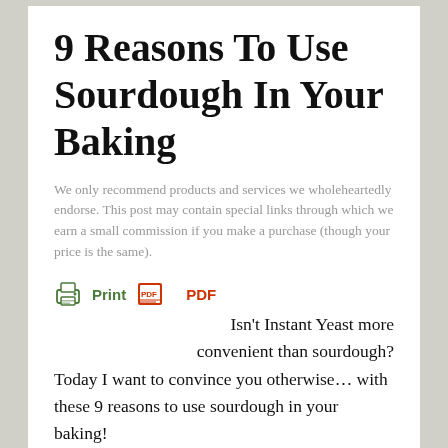9 Reasons To Use Sourdough In Your Baking
We only recommend products and services we wholeheartedly endorse. This post may contain special links through which we earn a small commission if you make a purchase (though your price is the same).
[Figure (illustration): Print and PDF buttons with printer and PDF icons in green and red respectively]
Isn't Instant Yeast more convenient than sourdough? Today I want to convince you otherwise… with these 9 reasons to use sourdough in your baking!
9 Reasons To Use